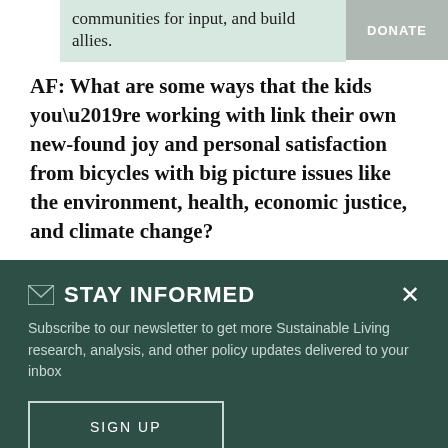communities for input, and build allies.
DONATE
AF: What are some ways that the kids you’re working with link their own new-found joy and personal satisfaction from bicycles with big picture issues like the environment, health, economic justice, and climate change?
STAY INFORMED
Subscribe to our newsletter to get more Sustainable Living research, analysis, and other policy updates delivered to your inbox
SIGN UP